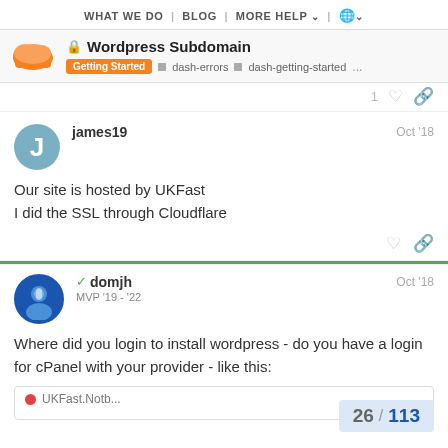WHAT WE DO | BLOG | MORE HELP | 🌐
🔒 Wordpress Subdomain
Getting Started  ▪ dash-errors  ▪ dash-getting-started  ...
james19  Oct '18
Our site is hosted by UKFast
I did the SSL through Cloudflare
domjh  MVP '19 - '22  Oct '18
Where did you login to install wordpress - do you have a login for cPanel with your provider - like this:
26 / 113